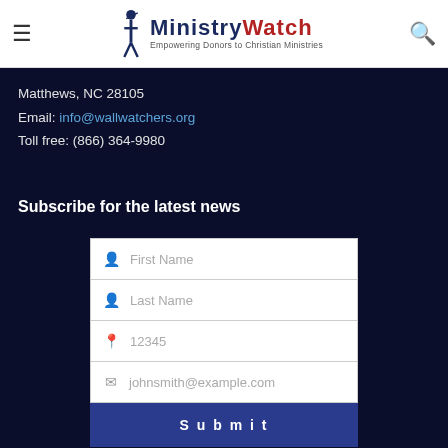MinistryWatch — Empowering Donors to Christian Ministries
Matthews, NC 28105
Email: info@wallwatchers.org
Toll free: (866) 364-9980
Subscribe for the latest news
First Name
Last Name
12345
johnsmith@example.com
Submit